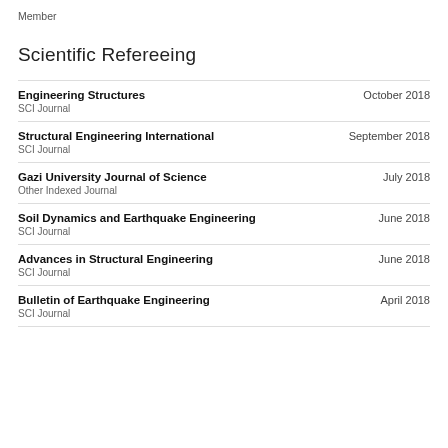Member
Scientific Refereeing
Engineering Structures | October 2018 | SCI Journal
Structural Engineering International | September 2018 | SCI Journal
Gazi University Journal of Science | July 2018 | Other Indexed Journal
Soil Dynamics and Earthquake Engineering | June 2018 | SCI Journal
Advances in Structural Engineering | June 2018 | SCI Journal
Bulletin of Earthquake Engineering | April 2018 | SCI Journal